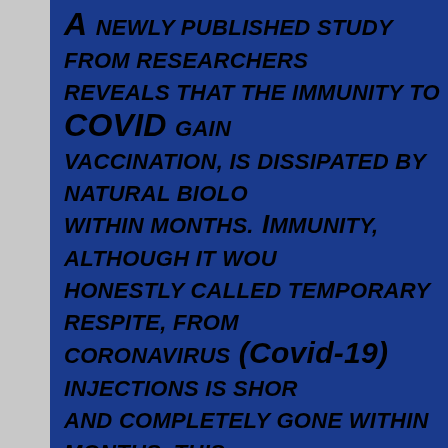A newly published study from researchers reveals that the immunity to COVID gained by vaccination, is dissipated by natural biology within months. Immunity, although it would be honestly called temporary respite, from the coronavirus (Covid-19) injections is short-lived and completely gone within months, this raises doubts raised by vaccine sceptics (or Conspiracy Theorists as mainstream media likes to call... READING >>>
UK Energy Crisis Deepens as prices and bills skyrocket while supplies shrink to critical... It is ironic that in the week world leaders... Swedeish trolls are gathering in Glasgow for virtue signalling that will inevitably driv...